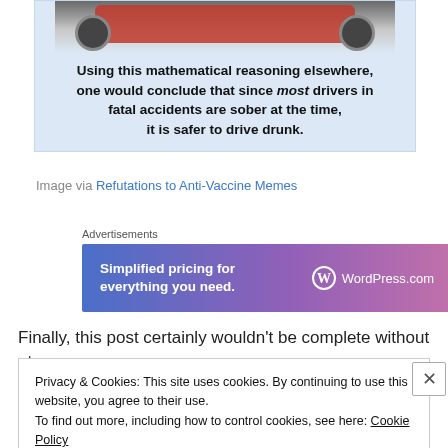[Figure (illustration): A meme-style image with a light blue background. Top portion shows a partial photo of a red car in snow. Below the photo is bold text reading: 'Using this mathematical reasoning elsewhere, one would conclude that since most drivers in fatal accidents are sober at the time, it is safer to drive drunk.']
Image via Refutations to Anti-Vaccine Memes
Advertisements
[Figure (other): WordPress.com advertisement banner with gradient blue-to-pink background. Left side: 'Simplified pricing for everything you need.' Right side: WordPress logo and 'WordPress.com']
Finally, this post certainly wouldn't be complete without at
Privacy & Cookies: This site uses cookies. By continuing to use this website, you agree to their use. To find out more, including how to control cookies, see here: Cookie Policy